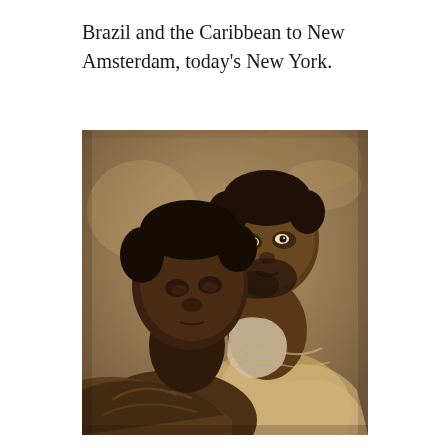Brazil and the Caribbean to New Amsterdam, today's New York.
[Figure (illustration): A painting depicting two Black men in close-up portrait, rendered in the style of Dutch Golden Age painting. The man on the left faces slightly downward, while the man on the right looks upward and to the side with a slight smile, wearing draped fabric garments. The background is a warm brownish-tan tone.]